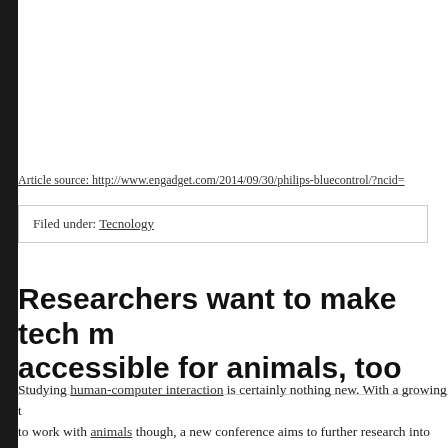Article source: http://www.engadget.com/2014/09/30/philips-bluecontrol/?ncid=
Filed under: Tecnology
Researchers want to make tech more accessible for animals, too
Studying human-computer interaction is certainly nothing new. With a growing trend to work with animals though, a new conference aims to further research into our (furry) friends' tech tendencies. In November, scientists will attend the International Animal Human Computer Interaction for presentations on how the use of cellphones can further research, becoming more useful for creatures of all kinds. As Popular... many of the uses we've seen so far are touch-based, so it'll be interesting to see what interaction attendees can devise. For now, here's an orangutan using an iPad to d